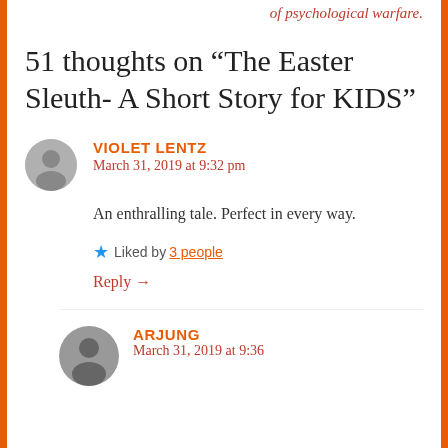of psychological warfare.
51 thoughts on “The Easter Sleuth- A Short Story for KIDS”
VIOLET LENTZ
March 31, 2019 at 9:32 pm
An enthralling tale. Perfect in every way.
Liked by 3 people
Reply →
ARJUNG
March 31, 2019 at 9:36